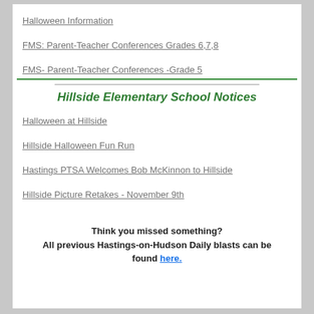Halloween Information
FMS: Parent-Teacher Conferences Grades 6,7,8
FMS- Parent-Teacher Conferences -Grade 5
Hillside Elementary School Notices
Halloween at Hillside
Hillside Halloween Fun Run
Hastings PTSA Welcomes Bob McKinnon to Hillside
Hillside Picture Retakes - November 9th
Think you missed something? All previous Hastings-on-Hudson Daily blasts can be found here.